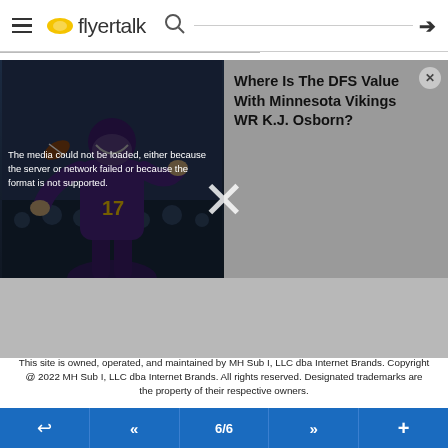flyertalk
[Figure (screenshot): FlyerTalk website header with hamburger menu, logo, and search icon]
[Figure (screenshot): Media player showing football player image on left with error message overlay reading 'The media could not be loaded, either because the server or network failed or because the format is not supported.' Right side shows article title 'Where Is The DFS Value With Minnesota Vikings WR K.J. Osborn?' with a close button. Large X close button overlaid across bottom of media area.]
This site is owned, operated, and maintained by MH Sub I, LLC dba Internet Brands. Copyright @ 2022 MH Sub I, LLC dba Internet Brands. All rights reserved. Designated trademarks are the property of their respective owners.
6/6